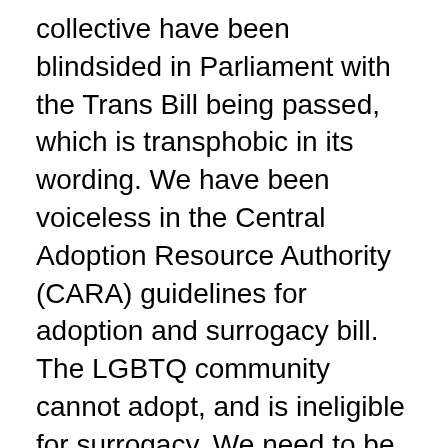collective have been blindsided in Parliament with the Trans Bill being passed, which is transphobic in its wording. We have been voiceless in the Central Adoption Resource Authority (CARA) guidelines for adoption and surrogacy bill. The LGBTQ community cannot adopt, and is ineligible for surrogacy. We need to be aware of decisions about our lives being made without consultation with us and respond to these strongly.
On the work front, post the decriminalisation, I see increasing number